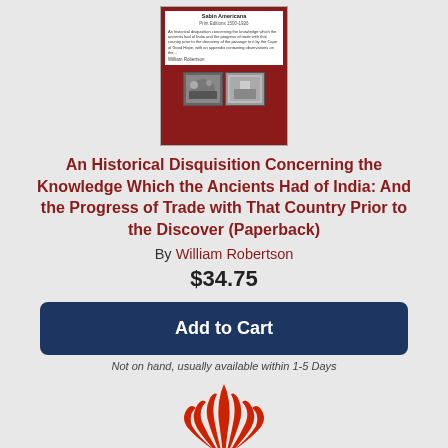[Figure (illustration): Book cover for 'An Historical Disquisition Concerning the Knowledge Which the Ancients Had of India' showing dark red background, white text label box at top, two historical photos at bottom]
An Historical Disquisition Concerning the Knowledge Which the Ancients Had of India: And the Progress of Trade with That Country Prior to the Discover (Paperback)
By William Robertson
$34.75
Add to Cart
Not on hand, usually available within 1-5 Days
[Figure (logo): Partial red illustrated logo/emblem at bottom of page]